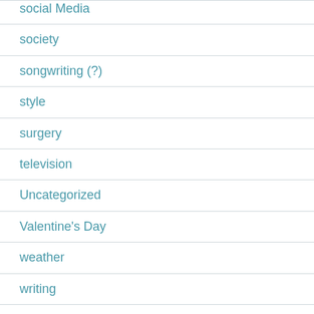Social Media
society
songwriting (?)
style
surgery
television
Uncategorized
Valentine's Day
weather
writing